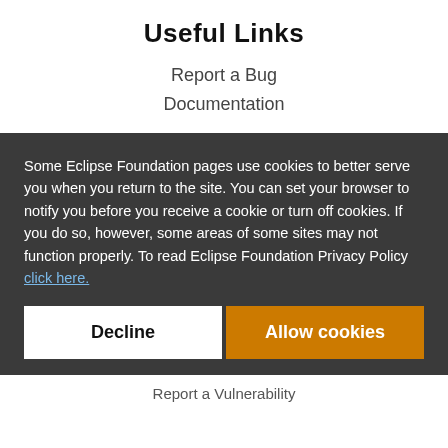Useful Links
Report a Bug
Documentation
Some Eclipse Foundation pages use cookies to better serve you when you return to the site. You can set your browser to notify you before you receive a cookie or turn off cookies. If you do so, however, some areas of some sites may not function properly. To read Eclipse Foundation Privacy Policy click here.
Decline
Allow cookies
Report a Vulnerability